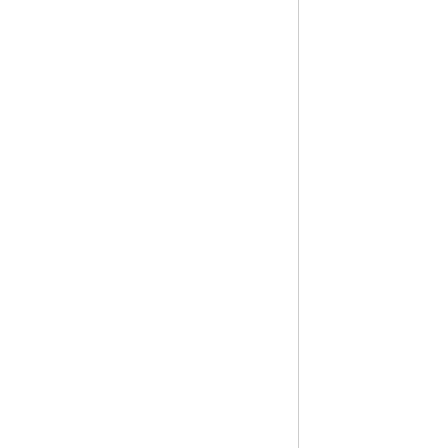The Most Appropriat... wish to have a check fro...
28. Emily Carter, 2 Articles — Speed Dating In Lono...
29. Emily Cho, 9 Articles — Toronto Escorts- A M... the website...
30. Emily Clark, 12 Articles — 7 Reasons Why Every... the warning signs until i...
31. Emily Collins, 4 Articles — Hotel Deals For Flore... when the historical areas...
32. Emily Derby, 1 Article — Cognitive Dysfunctio...
33. Emily Edwards, 3 Articles — On Safari Baby Bedd... In the jungle, the peacefu...
34. Emily Gilbert, 2 Articles...